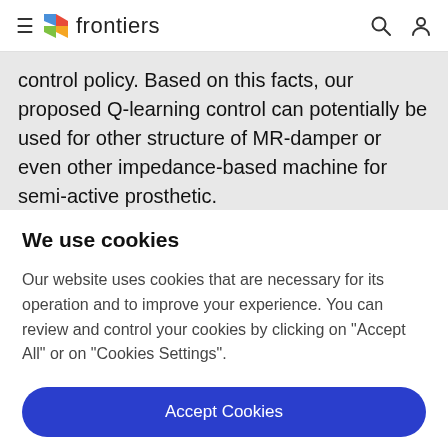≡ frontiers
control policy. Based on this facts, our proposed Q-learning control can potentially be used for other structure of MR-damper or even other impedance-based machine for semi-active prosthetic.
We use cookies
Our website uses cookies that are necessary for its operation and to improve your experience. You can review and control your cookies by clicking on "Accept All" or on "Cookies Settings".
Accept Cookies
Cookies Settings